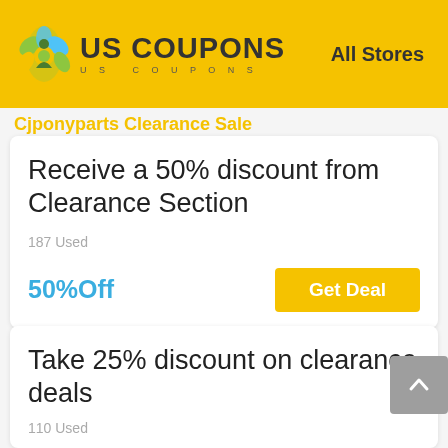US COUPONS — All Stores
Cjponyparts Clearance Sale
Receive a 50% discount from Clearance Section
187 Used
50%Off
Take 25% discount on clearance deals
110 Used